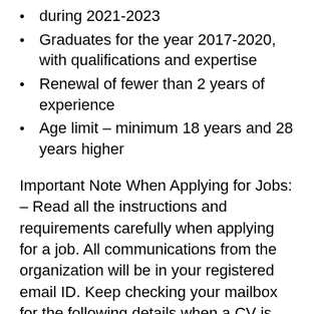during 2021-2023
Graduates for the year 2017-2020, with qualifications and expertise
Renewal of fewer than 2 years of experience
Age limit – minimum 18 years and 28 years higher
Important Note When Applying for Jobs: – Read all the instructions and requirements carefully when applying for a job. All communications from the organization will be in your registered email ID. Keep checking your mailbox for the following details when a CV is selected.
Apply for a TCS NQT Registration Link / Proceed to 2024-25